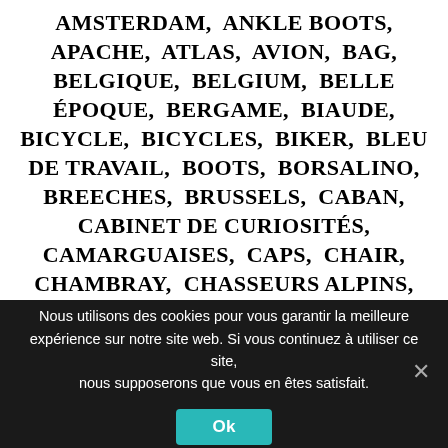AMSTERDAM,  ANKLE BOOTS,  APACHE,  ATLAS,  AVION,  BAG,  BELGIQUE,  BELGIUM,  BELLE ÉPOQUE,  BERGAME,  BIAUDE,  BICYCLE,  BICYCLES,  BIKER,  BLEU DE TRAVAIL,  BOOTS,  BORSALINO,  BREECHES,  BRUSSELS,  CABAN,  CABINET DE CURIOSITÉS,  CAMARGUAISES,  CAPS,  CHAIR,  CHAMBRAY,  CHASSEURS ALPINS,  CHOPPER,  CITY SPORT,  CLOTHES,  COVERALL,  CUIR,  CURIOSITIES,  CYCLORAMEUR,  DILECTA,  DOUBLE BREASTED SUIT,  DRESS,  DUFFEL BAG,  DUFFEL COAT,  DUFFLE COAT,  EDWARDIAN,  ERSATZ,  ESPADRILLES,
Nous utilisons des cookies pour vous garantir la meilleure expérience sur notre site web. Si vous continuez à utiliser ce site, nous supposerons que vous en êtes satisfait.